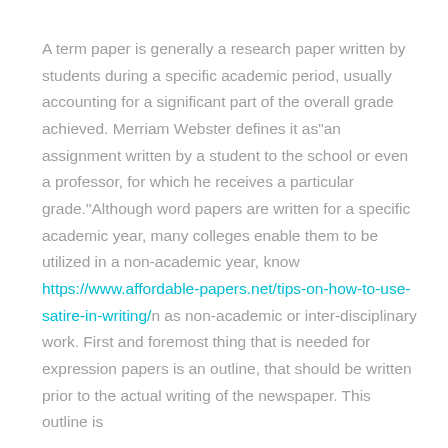A term paper is generally a research paper written by students during a specific academic period, usually accounting for a significant part of the overall grade achieved. Merriam Webster defines it as"an assignment written by a student to the school or even a professor, for which he receives a particular grade."Although word papers are written for a specific academic year, many colleges enable them to be utilized in a non-academic year, know https://www.affordable-papers.net/tips-on-how-to-use-satire-in-writing/n as non-academic or inter-disciplinary work. First and foremost thing that is needed for expression papers is an outline, that should be written prior to the actual writing of the newspaper. This outline is